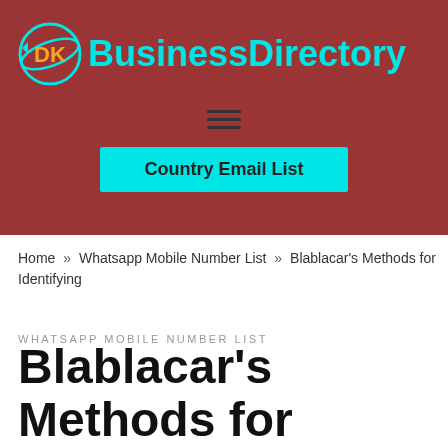DK BusinessDirectory
Country Email List
Home » Whatsapp Mobile Number List » Blablacar's Methods for Identifying
WHATSAPP MOBILE NUMBER LIST
Blablacar's Methods for Identifying